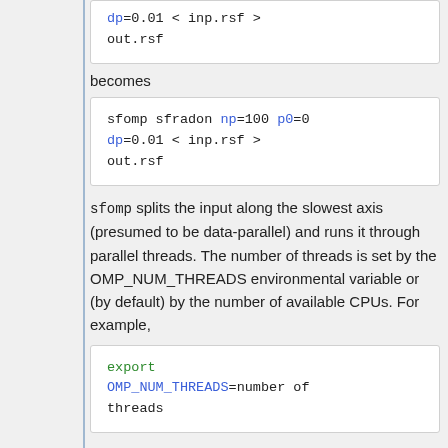dp=0.01 < inp.rsf >
out.rsf
becomes
sfomp sfradon np=100 p0=0
dp=0.01 < inp.rsf >
out.rsf
sfomp splits the input along the slowest axis (presumed to be data-parallel) and runs it through parallel threads. The number of threads is set by the OMP_NUM_THREADS environmental variable or (by default) by the number of available CPUs. For example,
export
OMP_NUM_THREADS=number of
threads